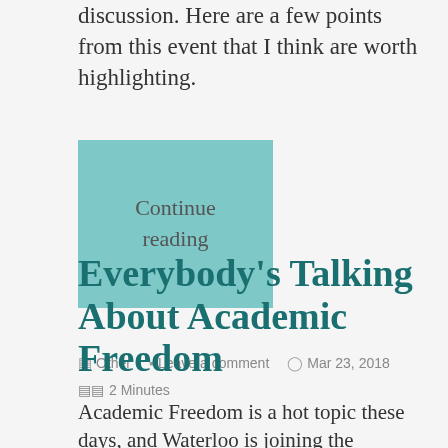discussion. Here are a few points from this event that I think are worth highlighting.
Continue reading
Other  Leave a comment  Mar 23, 2018  2 Minutes
Everybody’s Talking About Academic Freedom
Academic Freedom is a hot topic these days, and Waterloo is joining the conversation. An